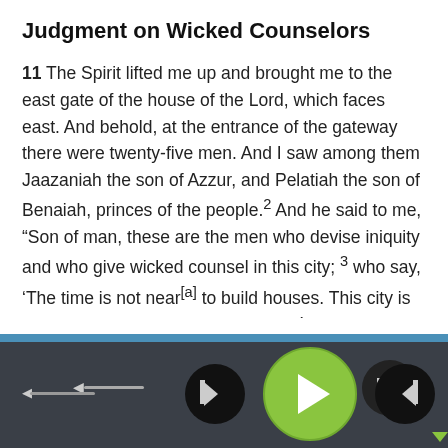Judgment on Wicked Counselors
11 The Spirit lifted me up and brought me to the east gate of the house of the Lord, which faces east. And behold, at the entrance of the gateway there were twenty-five men. And I saw among them Jaazaniah the son of Azzur, and Pelatiah the son of Benaiah, princes of the people.² And he said to me, “Son of man, these are the men who devise iniquity and who give wicked counsel in this city; ³ who say, ‘The time is not near[a] to build houses. This city is the cauldron, and we are the meat.’4 Therefore prophesy against them; prophesy, O son of man.”
[Figure (screenshot): Audio player interface with green play button, skip-back and skip-forward controls, volume slider on dark background with blue bar separator]